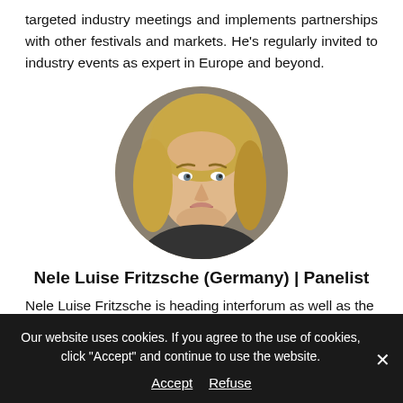targeted industry meetings and implements partnerships with other festivals and markets. He's regularly invited to industry events as expert in Europe and beyond.
[Figure (photo): Circular portrait photo of Nele Luise Fritzsche, a young woman with long blonde hair]
Nele Luise Fritzsche (Germany) | Panelist
Nele Luise Fritzsche is heading interforum as well as the
Our website uses cookies. If you agree to the use of cookies, click "Accept" and continue to use the website.
Accept   Refuse